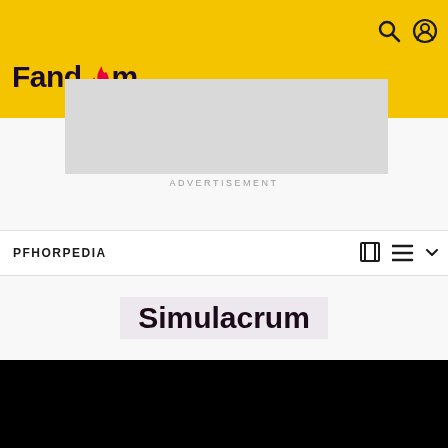Fandom
[Figure (screenshot): Gray advertisement placeholder rectangle]
ADVERTISEMENT
PFHORPEDIA
Simulacrum